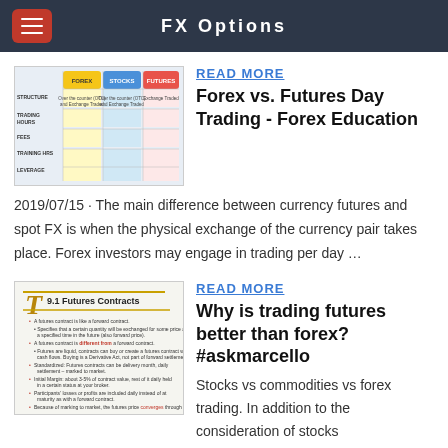FX Options
[Figure (screenshot): Comparison table thumbnail: Forex vs Stocks vs Futures columns with rows for structure, trading hours, fees, training hours, leverage]
READ MORE
Forex vs. Futures Day Trading - Forex Education
2019/07/15 · The main difference between currency futures and spot FX is when the physical exchange of the currency pair takes place. Forex investors may engage in trading per day …
[Figure (screenshot): Textbook page thumbnail showing section 9.1 Futures Contracts with bullet point list]
READ MORE
Why is trading futures better than forex? #askmarcello
Stocks vs commodities vs forex trading. In addition to the consideration of stocks vs commodities, forex (foreign exchange) is another asset class to consider relative to the others. Forex is the